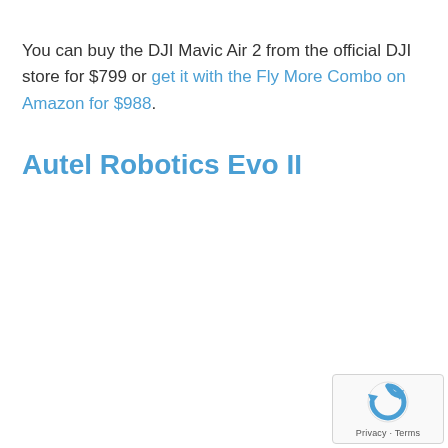You can buy the DJI Mavic Air 2 from the official DJI store for $799 or get it with the Fly More Combo on Amazon for $988.
Autel Robotics Evo II
[Figure (other): reCAPTCHA logo with Privacy and Terms labels]